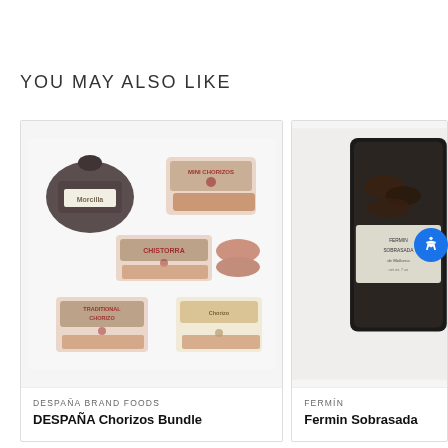YOU MAY ALSO LIKE
[Figure (photo): DESPAÑA Chorizos Bundle product image showing multiple chorizo packages including Morcilla, Mini Chorizos, Chistorra, and Traditional Chorizo arranged in a grid]
DESPAÑA BRAND FOODS
DESPAÑA Chorizos Bundle
[Figure (photo): Fermin Sobrasada product image showing a dark packaged product, partially cropped]
FERMÍN
Fermin Sobrasada